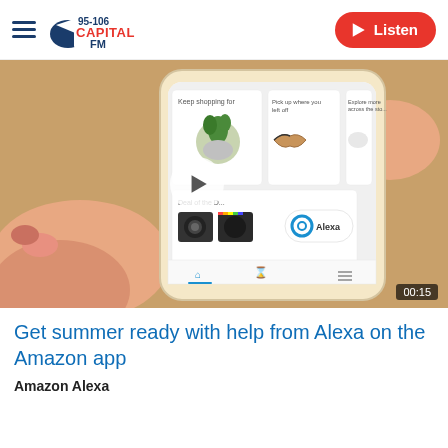Capital FM 95-106 | Listen
[Figure (screenshot): Video thumbnail showing a hand holding a smartphone displaying the Amazon shopping app with Alexa integration. Items visible include a plant, sunglasses, sneakers, and a camera. A play button overlay and '00:15' timer are visible.]
Get summer ready with help from Alexa on the Amazon app
Amazon Alexa